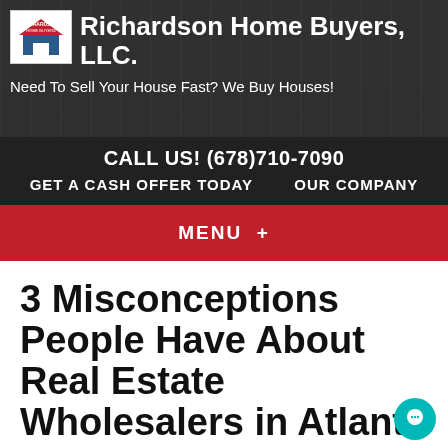Richardson Home Buyers, LLC. — Need To Sell Your House Fast? We Buy Houses! — CALL US! (678)710-7090 — GET A CASH OFFER TODAY    OUR COMPANY
MENU +
3 Misconceptions People Have About Real Estate Wholesalers in Atlanta
June 22, 2022